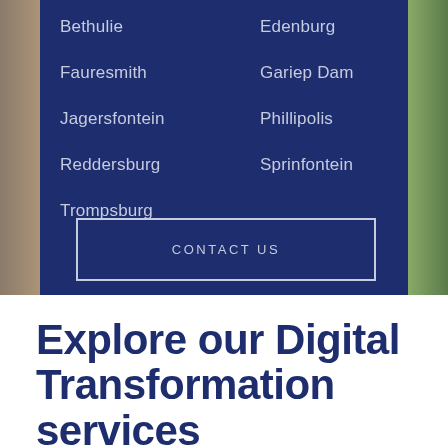Bethulie
Edenburg
Fauresmith
Gariep Dam
Jagersfontein
Phillipolis
Reddersburg
Sprinfontein
Trompsburg
CONTACT US
Explore our Digital Transformation services